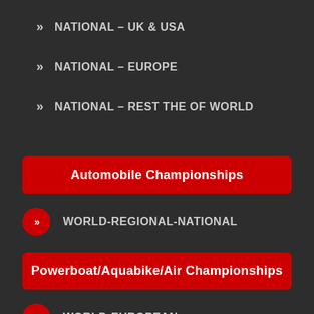NATIONAL – UK & USA
NATIONAL – EUROPE
NATIONAL – REST THE OF WORLD
Automobile Championships
WORLD-REGIONAL-NATIONAL
Powerboat/Aquabike/Air Championships
WORLD-EUROPEAN